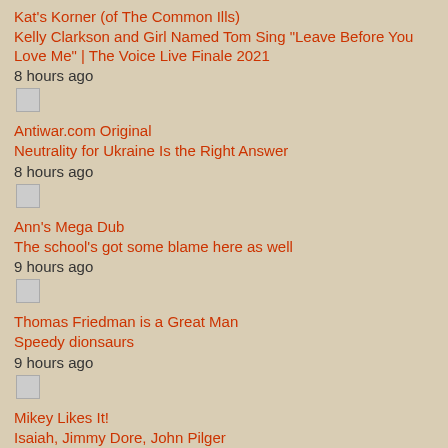Kat's Korner (of The Common Ills)
Kelly Clarkson and Girl Named Tom Sing "Leave Before You Love Me" | The Voice Live Finale 2021
8 hours ago
Antiwar.com Original
Neutrality for Ukraine Is the Right Answer
8 hours ago
Ann's Mega Dub
The school's got some blame here as well
9 hours ago
Thomas Friedman is a Great Man
Speedy dionsaurs
9 hours ago
Mikey Likes It!
Isaiah, Jimmy Dore, John Pilger